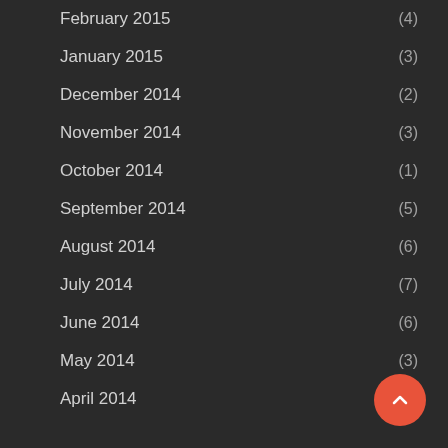February 2015 (4)
January 2015 (3)
December 2014 (2)
November 2014 (3)
October 2014 (1)
September 2014 (5)
August 2014 (6)
July 2014 (7)
June 2014 (6)
May 2014 (3)
April 2014 (4)